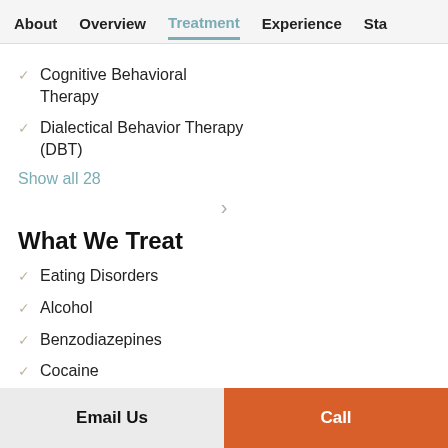About  Overview  Treatment  Experience  Sta
Cognitive Behavioral Therapy
Dialectical Behavior Therapy (DBT)
Show all 28
What We Treat
Eating Disorders
Alcohol
Benzodiazepines
Cocaine
Email Us  Call